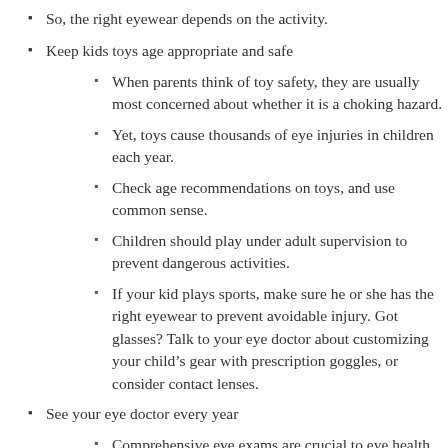So, the right eyewear depends on the activity.
Keep kids toys age appropriate and safe
When parents think of toy safety, they are usually most concerned about whether it is a choking hazard.
Yet, toys cause thousands of eye injuries in children each year.
Check age recommendations on toys, and use common sense.
Children should play under adult supervision to prevent dangerous activities.
If your kid plays sports, make sure he or she has the right eyewear to prevent avoidable injury. Got glasses? Talk to your eye doctor about customizing your child’s gear with prescription goggles, or consider contact lenses.
See your eye doctor every year
Comprehensive eye exams are crucial to eye health. At your eye check-up, your optometrist will examine your vision and eyes.